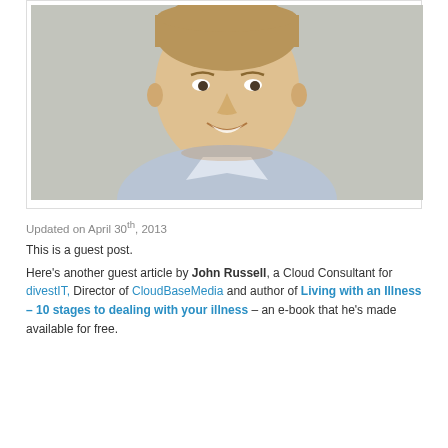[Figure (photo): Headshot photo of a young man with short brown hair, smiling, wearing a light blue dress shirt, against a neutral background.]
Updated on April 30th, 2013
This is a guest post.
Here's another guest article by John Russell, a Cloud Consultant for divestIT, Director of CloudBaseMedia and author of Living with an Illness – 10 stages to dealing with your illness – an e-book that he's made available for free.